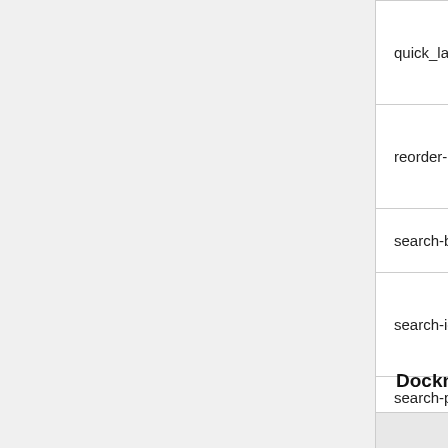| 1x | 1x File |
| --- | --- |
| quick_launch_highlight.png | [image] |
| reorder-ripple.png | [image] |
| search-bottom-fade.png | [image] |
| search-icon-disabled.png | [image] |
| search-pill.png | [image] |
| search-pill-no-icon.png | [image] |
Dockmode
| 1x | 1x File | Deprecated | Co |
| --- | --- | --- | --- |